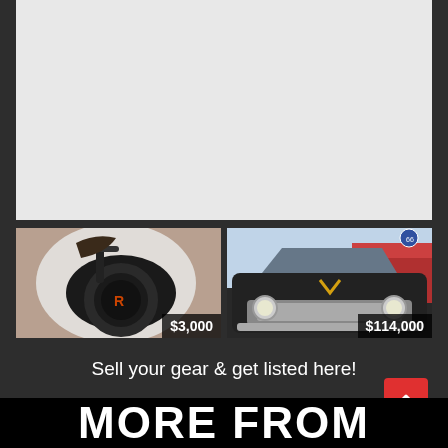[Figure (photo): Light gray blank/empty image area at the top of the page]
[Figure (photo): Electric unicycle/scooter product listing photo with price badge showing $3,000]
[Figure (photo): Classic vintage car (1957 Chevrolet) front view product listing with price badge showing $114,000]
Sell your gear & get listed here!
MORE FROM